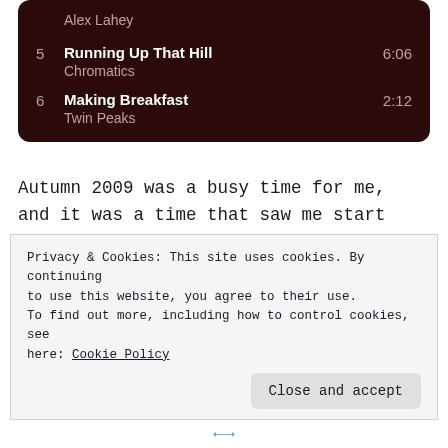5  Running Up That Hill  6:06
Chromatics
6  Making Breakfast  2:12
Twin Peaks
Autumn 2009 was a busy time for me, and it was a time that saw me start the original version of Tunes in TO. Though the site launched in October that year, I spent much of September
Privacy & Cookies: This site uses cookies. By continuing to use this website, you agree to their use.
To find out more, including how to control cookies, see here: Cookie Policy
Close and accept